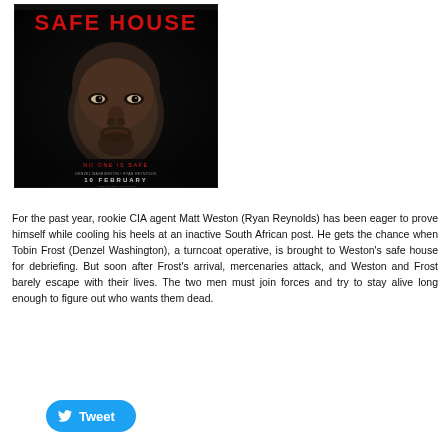[Figure (photo): Movie poster for 'Safe House' showing a close-up of a man's face on a dark background with red text reading 'SAFE HOUSE', tagline 'NO ONE IS SAFE', and '10 FEBRUARY' at the bottom.]
For the past year, rookie CIA agent Matt Weston (Ryan Reynolds) has been eager to prove himself while cooling his heels at an inactive South African post. He gets the chance when Tobin Frost (Denzel Washington), a turncoat operative, is brought to Weston's safe house for debriefing. But soon after Frost's arrival, mercenaries attack, and Weston and Frost barely escape with their lives. The two men must join forces and try to stay alive long enough to figure out who wants them dead.